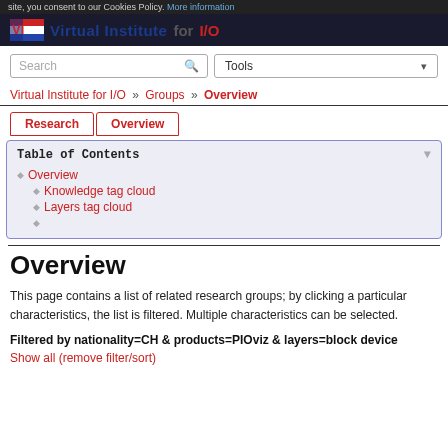site, you consent to our Cookies Policy. More information
[Figure (logo): Virtual Institute for I/O logo with flag icon and text]
[Figure (screenshot): Search box and Tools dropdown]
Virtual Institute for I/O » Groups » Overview
Research | Overview tabs
Table of Contents
Overview
Knowledge tag cloud
Layers tag cloud
Overview
This page contains a list of related research groups; by clicking a particular characteristics, the list is filtered. Multiple characteristics can be selected.
Filtered by nationality=CH & products=PIOviz & layers=block device
Show all (remove filter/sort)